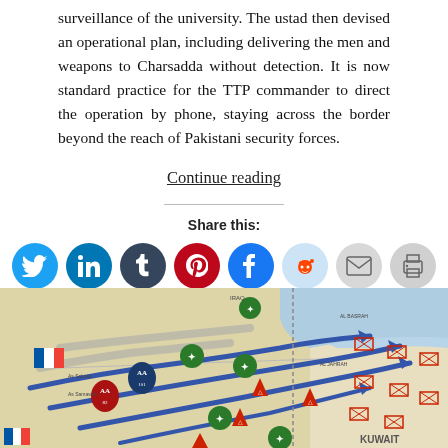surveillance of the university. The ustad then devised an operational plan, including delivering the men and weapons to Charsadda without detection. It is now standard practice for the TTP commander to direct the operation by phone, staying across the border beyond the reach of Pakistani security forces.
Continue reading
Share this:
[Figure (infographic): Social media share icons: Twitter (blue), LinkedIn (blue), Tumblr (dark), Pinterest (red), Facebook (blue), Reddit (light blue), Email (grey), Print (grey)]
[Figure (map): Military operations map showing Kuwait region with unit symbols, arrows indicating movements, flags of France, and various military insignia overlaid on a tan/beige terrain map.]